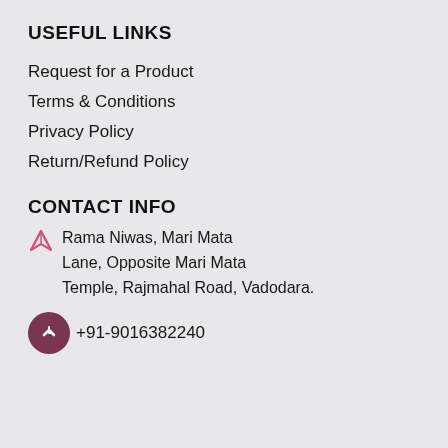USEFUL LINKS
Request for a Product
Terms & Conditions
Privacy Policy
Return/Refund Policy
CONTACT INFO
Rama Niwas, Mari Mata Lane, Opposite Mari Mata Temple, Rajmahal Road, Vadodara.
+91-9016382240